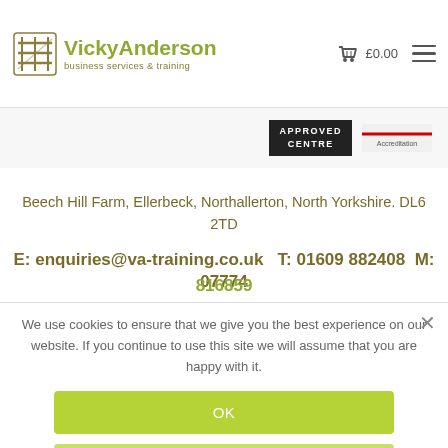[Figure (logo): Vicky Anderson Business Services & Training logo with gate/fence icon]
[Figure (screenshot): Shopping cart icon with £0.00 and hamburger menu icon]
[Figure (logo): Approved Centre badge and partner logo in dark strip]
Beech Hill Farm, Ellerbeck, Northallerton, North Yorkshire. DL6 2TD
E: enquiries@va-training.co.uk    T: 01609 882408   M: 07774
816859
We use cookies to ensure that we give you the best experience on our website. If you continue to use this site we will assume that you are happy with it.
OK
NO